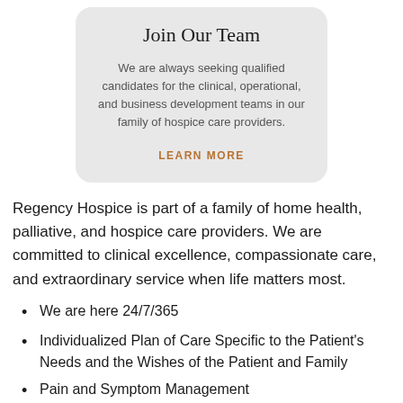Join Our Team
We are always seeking qualified candidates for the clinical, operational, and business development teams in our family of hospice care providers.
LEARN MORE
Regency Hospice is part of a family of home health, palliative, and hospice care providers. We are committed to clinical excellence, compassionate care, and extraordinary service when life matters most.
We are here 24/7/365
Individualized Plan of Care Specific to the Patient's Needs and the Wishes of the Patient and Family
Pain and Symptom Management